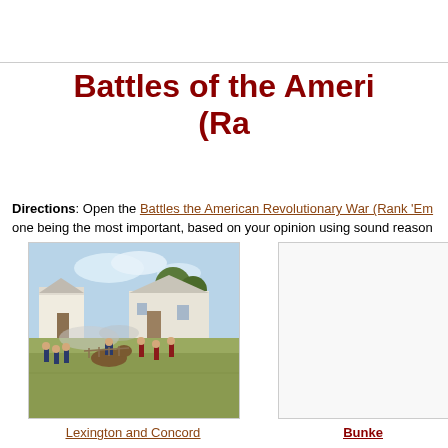Battles of the Ameri (Ra
Directions: Open the Battles the American Revolutionary War (Rank 'Em one being the most important, based on your opinion using sound reason
[Figure (illustration): Historical painting of the Battle of Lexington and Concord showing soldiers on horseback and on foot fighting near colonial buildings]
Lexington and Concord
[Figure (illustration): Partial image of another Revolutionary War battle scene (Bunker Hill)]
Bunke